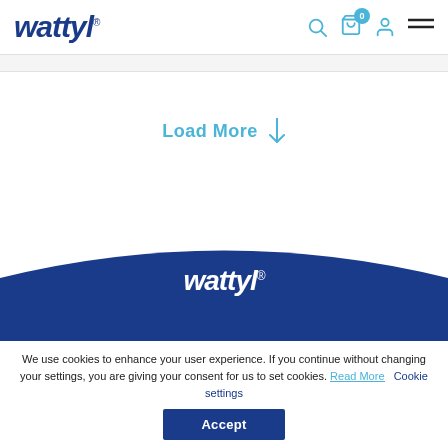wattyl
Load More ↓
[Figure (logo): Wattyl logo in white on dark blue footer background with arch/wave shape]
We use cookies to enhance your user experience. If you continue without changing your settings, you are giving your consent for us to set cookies. Read More   Cookie settings
Accept